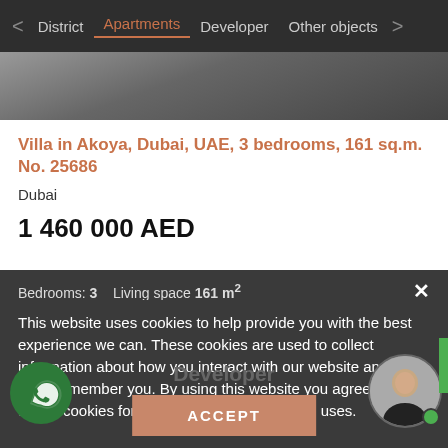< District  Apartments  Developer  Other objects  >
[Figure (photo): Partial view of a property interior/exterior photo strip]
Villa in Akoya, Dubai, UAE, 3 bedrooms, 161 sq.m. No. 25686
Dubai
1 460 000 AED
Bedrooms: 3   Living space 161 m²
This website uses cookies to help provide you with the best experience we can. These cookies are used to collect information about how you interact with our website and allow us to remember you. By using this website you agree to the use of cookies for analytics and personalized uses.
Developer
ACCEPT